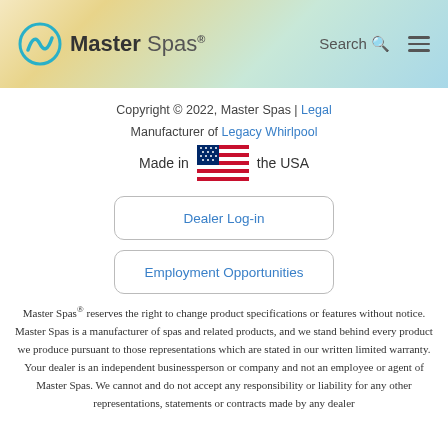[Figure (logo): Master Spas logo with teal swirl icon and text 'Master Spas' with navigation search and hamburger menu]
Copyright © 2022, Master Spas | Legal
Manufacturer of Legacy Whirlpool
[Figure (illustration): American flag icon between 'Made in' and 'the USA' text]
Dealer Log-in
Employment Opportunities
Master Spas® reserves the right to change product specifications or features without notice. Master Spas is a manufacturer of spas and related products, and we stand behind every product we produce pursuant to those representations which are stated in our written limited warranty. Your dealer is an independent businessperson or company and not an employee or agent of Master Spas. We cannot and do not accept any responsibility or liability for any other representations, statements or contracts made by any dealer